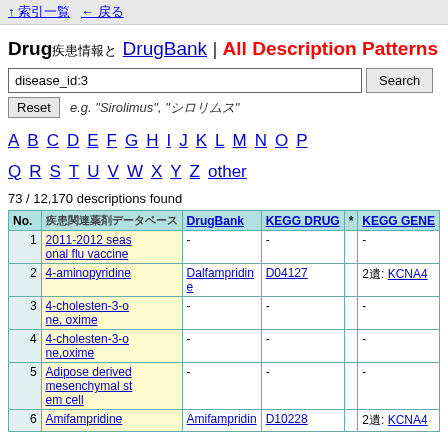↑ 索引一覧　← 戻る
Drug疾患情報とDrugBank | All Description Patterns
disease_id:3  Search  Reset  e.g. "Sirolimus", "シロリムス"
A B C D E F G H I J K L M N O P Q R S T U V W X Y Z other
73 / 12,170 descriptions found
| No. | 疾患関連薬剤データベース | DrugBank | KEGG DRUG | * | KEGG GENE |
| --- | --- | --- | --- | --- | --- |
| 1 | 2011-2012 seasonal flu vaccine | - | - |  | - |
| 2 | 4-aminopyridine | Dalfampridine | D04127 |  | 2遺: KCNA4 |
| 3 | 4-cholesten-3-one, oxime | - | - |  | - |
| 4 | 4-cholesten-3-one,oxime | - | - |  | - |
| 5 | Adipose derived mesenchymal stem cell | - | - |  | - |
| 6 | Amifampridine | Amifampridin | D10228 |  | 2遺: KCNA4 |